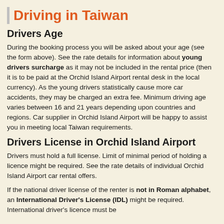Driving in Taiwan
Drivers Age
During the booking process you will be asked about your age (see the form above). See the rate details for information about young drivers surcharge as it may not be included in the rental price (then it is to be paid at the Orchid Island Airport rental desk in the local currency). As the young drivers statistically cause more car accidents, they may be charged an extra fee. Minimum driving age varies between 16 and 21 years depending upon countries and regions. Car supplier in Orchid Island Airport will be happy to assist you in meeting local Taiwan requirements.
Drivers License in Orchid Island Airport
Drivers must hold a full license. Limit of minimal period of holding a licence might be required. See the rate details of individual Orchid Island Airport car rental offers.
If the national driver license of the renter is not in Roman alphabet, an International Driver's License (IDL) might be required. International driver's licence must be